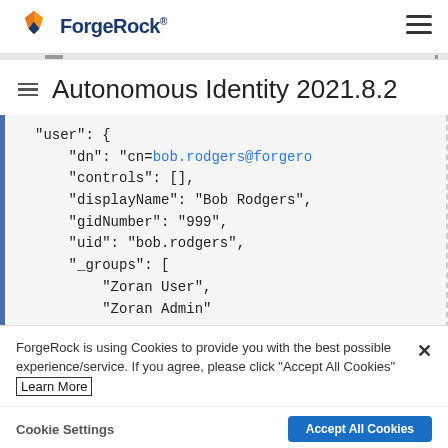ForgeRock
Autonomous Identity 2021.8.2
"user": {
    "dn": "cn=bob.rodgers@forgero
    "controls": [],
    "displayName": "Bob Rodgers",
    "gidNumber": "999",
    "uid": "bob.rodgers",
    "_groups": [
        "Zoran User",
        "Zoran Admin"
ForgeRock is using Cookies to provide you with the best possible experience/service. If you agree, please click "Accept All Cookies" Learn More